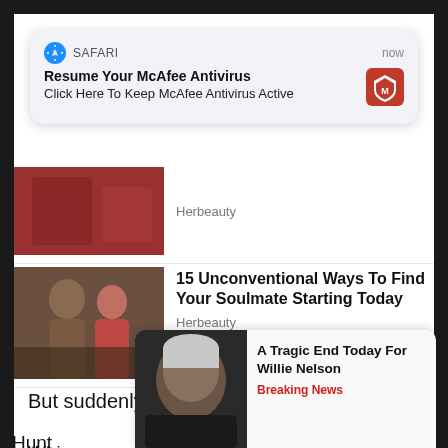[Figure (screenshot): Safari iOS notification popup: 'Resume Your McAfee Antivirus / Click Here To Keep McAfee Antivirus Active' with McAfee logo, timestamped 'now']
[Figure (photo): Partially visible ad image at top – red-toned image, Herbeauty source]
Herbeauty
[Figure (photo): Ad image: man and woman standing in water, fitness/romance themed]
15 Unconventional Ways To Find Your Soulmate Starting Today
Herbeauty
But suddenly, China is in the spotlight.
Whic                                                              .
Hunt                                                              ried
poor a                                                          ome
disclo
[Figure (screenshot): Bottom ad popup: photo of elderly man (Willie Nelson), title 'A Tragic End Today For Willie Nelson', source 'Breaking News']